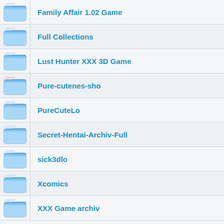Family Affair 1.02 Game
Full Collections
Lust Hunter XXX 3D Game
Pure-cutenes-sho
PureCuteLo
Secret-Hentai-Archiv-Full
sick3dlo
Xcomics
XXX Game archiv
(09.02.2021) KaiKao SxxthK.zip